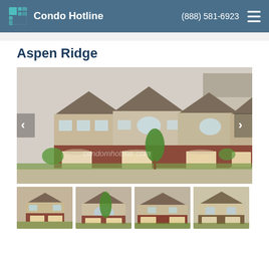Condo Hotline  (888) 581-6923
Aspen Ridge
[Figure (photo): Exterior photo of Aspen Ridge townhome/condo complex showing multi-unit brick and siding buildings with garages, arched windows, and landscaping. Watermark reads condomhotline.com]
[Figure (photo): Thumbnail 1: Exterior of Aspen Ridge condo units, brick and siding facades, garages]
[Figure (photo): Thumbnail 2: Front entrance area of Aspen Ridge with arched window and trees]
[Figure (photo): Thumbnail 3: Closer view of Aspen Ridge units with garages and siding]
[Figure (photo): Thumbnail 4: Another view of Aspen Ridge building exterior with tan siding]